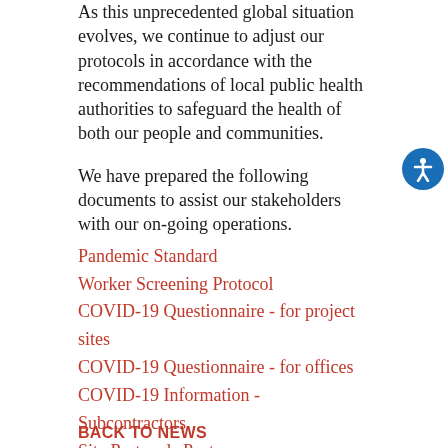As this unprecedented global situation evolves, we continue to adjust our protocols in accordance with the recommendations of local public health authorities to safeguard the health of both our people and communities.
We have prepared the following documents to assist our stakeholders with our on-going operations.
Pandemic Standard
Worker Screening Protocol
COVID-19 Questionnaire - for project sites
COVID-19 Questionnaire - for offices
COVID-19 Information - Subcontractors
Site Protocols Poster
Social Distance Poster
BACK TO NEWS